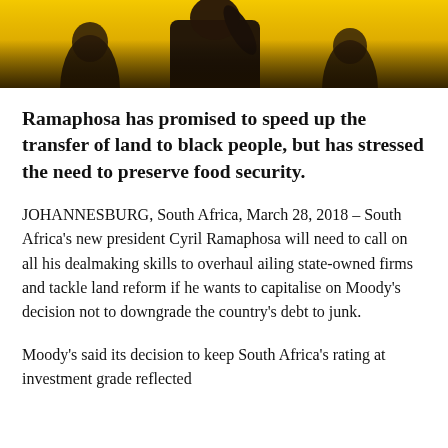[Figure (photo): Photograph of a person speaking at what appears to be a political rally, with a yellow/gold background and crowd visible. The subject wears a dark outfit with an orange detail.]
Ramaphosa has promised to speed up the transfer of land to black people, but has stressed the need to preserve food security.
JOHANNESBURG, South Africa, March 28, 2018 – South Africa's new president Cyril Ramaphosa will need to call on all his dealmaking skills to overhaul ailing state-owned firms and tackle land reform if he wants to capitalise on Moody's decision not to downgrade the country's debt to junk.
Moody's said its decision to keep South Africa's rating at investment grade reflected